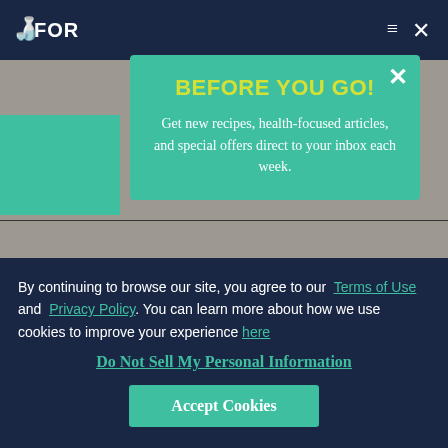[Figure (screenshot): Background website with dark navy top bar showing partial logo 'FOR...' and navigation icons, gray content area with teal block on left]
BEFORE YOU GO!
Get new recipes, health-focused articles, and special offers direct to your inbox each week.
By continuing to browse our site, you agree to our Terms of Use and Privacy Policy. You can learn more about how we use cookies to improve your experience here
Do Not Sell My Personal Information
Accept Cookies